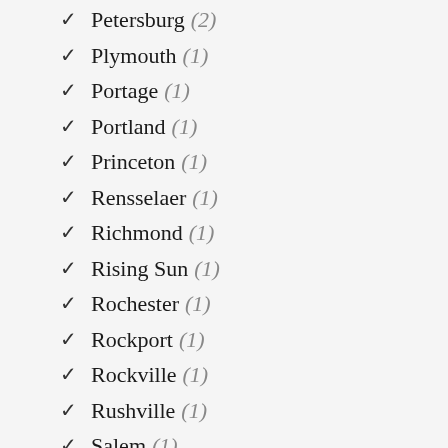Petersburg (2)
Plymouth (1)
Portage (1)
Portland (1)
Princeton (1)
Rensselaer (1)
Richmond (1)
Rising Sun (1)
Rochester (1)
Rockport (1)
Rockville (1)
Rushville (1)
Salem (1)
Scottsburg (1)
Seymour (1)